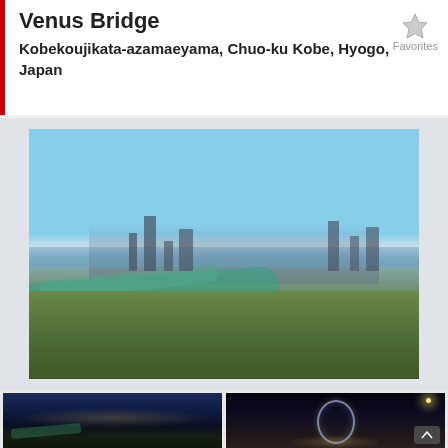Venus Bridge
Kobekoujikata-azamaeyama, Chuo-ku Kobe, Hyogo, Japan
Favorites
[Figure (photo): Aerial daytime panoramic photo of Kobe city from Venus Bridge lookout, showing the spiral green bridge structure in the foreground, dense urban cityscape stretching to Osaka Bay in the background, under a clear blue sky with surrounding forested hills.]
[Figure (photo): Nighttime photo from Venus Bridge showing the city lights of Kobe sprawling below, with the illuminated green bridge visible in the foreground against a deep blue dusk sky.]
[Figure (photo): Nighttime photo of the Venus Bridge sculpture — a large spherical metal art installation illuminated on a circular plaza, with a tall streetlamp visible to the right and a dark sky behind.]